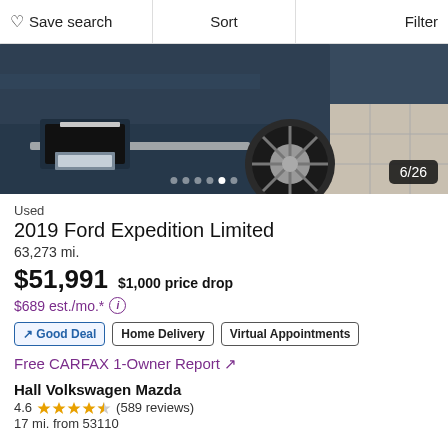Save search | Sort | Filter
[Figure (photo): Close-up photo of front lower bumper, grille, and wheel of a dark blue Ford Expedition SUV in a showroom with tile floor. Image counter shows 6/26.]
Used
2019 Ford Expedition Limited
63,273 mi.
$51,991  $1,000 price drop
$689 est./mo.*
↗ Good Deal | Home Delivery | Virtual Appointments
Free CARFAX 1-Owner Report ↗
Hall Volkswagen Mazda
4.6 ★★★★½ (589 reviews)
17 mi. from 53110